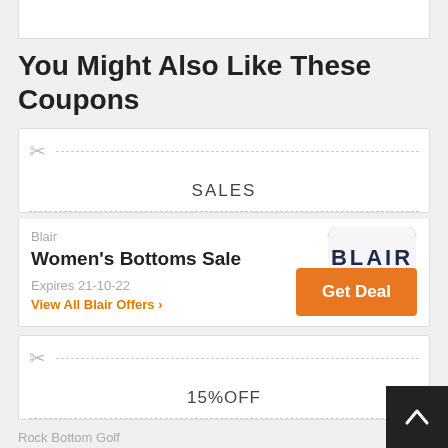[Figure (other): White box at top of page, partial coupon or ad unit]
You Might Also Like These Coupons
[Figure (other): Coupon card with scissors icon and label SALES]
Blair
[Figure (logo): BLAIR logo text in dark blue]
Women's Bottoms Sale
Expires 21-10-22
View All Blair Offers >
[Figure (other): Orange Get Deal button]
[Figure (other): Coupon card with scissors icon and label 15%OFF]
Rock Bottom Golf